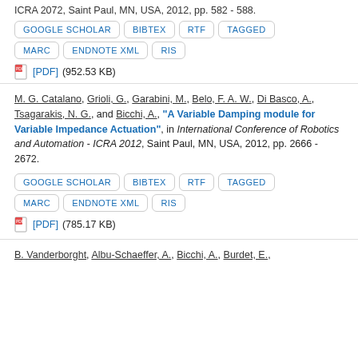ICRA 2012, Saint Paul, MN, USA, 2012, pp. 582 - 588.
GOOGLE SCHOLAR | BIBTEX | RTF | TAGGED | MARC | ENDNOTE XML | RIS
[PDF] (952.53 KB)
M. G. Catalano, Grioli, G., Garabini, M., Belo, F. A. W., Di Basco, A., Tsagarakis, N. G., and Bicchi, A., "A Variable Damping module for Variable Impedance Actuation", in International Conference of Robotics and Automation - ICRA 2012, Saint Paul, MN, USA, 2012, pp. 2666 - 2672.
GOOGLE SCHOLAR | BIBTEX | RTF | TAGGED | MARC | ENDNOTE XML | RIS
[PDF] (785.17 KB)
B. Vanderborght, Albu-Schaeffer, A., Bicchi, A., Burdet, E.,